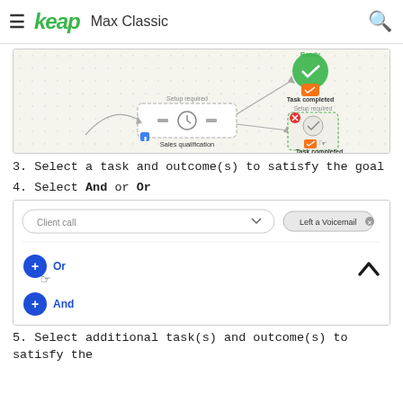keap  Max Classic
[Figure (screenshot): Workflow diagram showing Sales qualification node connected to two Task completed nodes. Upper Task completed node has green Ready icon. Lower Task completed node has a red X error icon and dashed border with Setup required label, and a cursor hovering over it.]
3. Select a task and outcome(s) to satisfy the goal
4. Select And or Or
[Figure (screenshot): UI panel showing a Client call dropdown with 'Left a Voicemail' tag. Below are two buttons: blue circle + Or (with cursor hovering) and blue circle + And. A chevron up arrow appears on the right.]
5. Select additional task(s) and outcome(s) to satisfy the